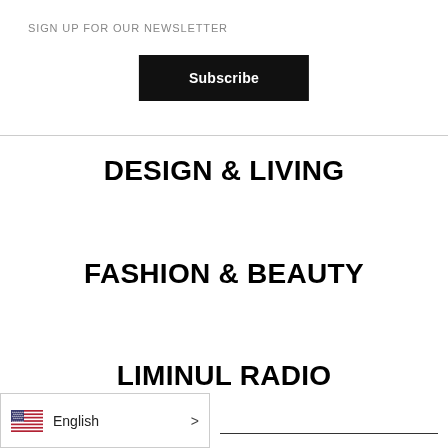SIGN UP FOR OUR NEWSLETTER
Subscribe
DESIGN & LIVING
FASHION & BEAUTY
LIMINUL RADIO
English